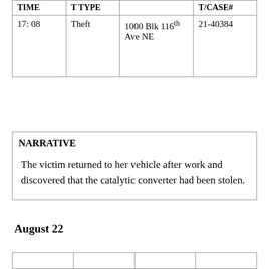| TIME | T TYPE |  | T/CASE# |
| --- | --- | --- | --- |
| 17: 08 | Theft | 1000 Blk 116th Ave NE | 21-40384 |
NARRATIVE
The victim returned to her vehicle after work and discovered that the catalytic converter had been stolen.
August 22